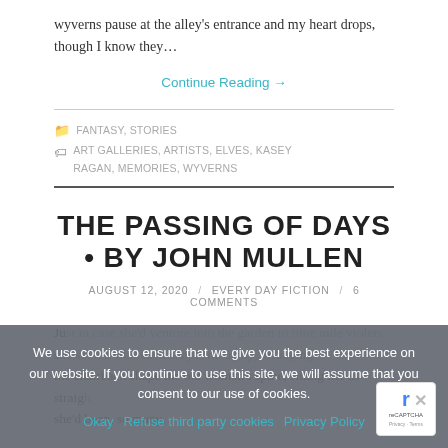wyverns pause at the alley's entrance and my heart drops, though I know they…
Continue Reading →
FANTASY, STORIES    ART GALLERIES, ARTISTS, ELVES, KASEY RAGAN, MEMORIES, WYVERNS
THE PASSING OF DAYS • BY JOHN MULLEN
AUGUST 12, 2020 / EVERY DAY FICTION / 6 COMMENTS
Just in case she'd venture into the garden to time mile violets she sat the chairback shape the old woman's spine, sitting her as straight she'd been, so many…
We use cookies to ensure that we give you the best experience on our website. If you continue to use this site, we will assume that you consent to our use of cookies.
Okay   Refuse third party cookies   Privacy Policy